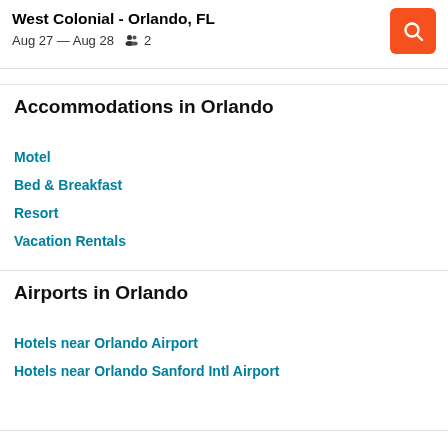West Colonial - Orlando, FL
Aug 27 — Aug 28   2
Accommodations in Orlando
Motel
Bed & Breakfast
Resort
Vacation Rentals
Airports in Orlando
Hotels near Orlando Airport
Hotels near Orlando Sanford Intl Airport